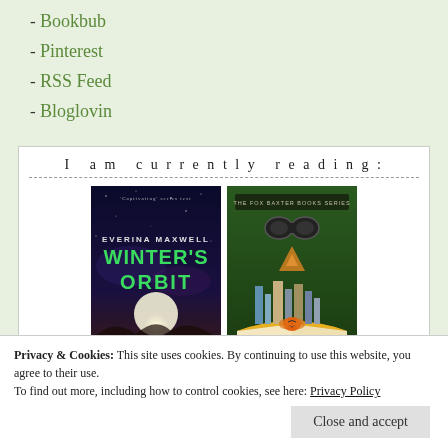- Bookbub
- Pinterest
- RSS Feed
- Bloglovin
I am currently reading:
[Figure (illustration): Book cover of Winter's Orbit by Everina Maxwell — dark space/planetary scene with 'Captivating' series text at top]
[Figure (illustration): Book cover with green background showing THE FOX BAXTER BOOKS SERIES — open book with cityscape rising from it and binoculars above]
Privacy & Cookies: This site uses cookies. By continuing to use this website, you agree to their use.
To find out more, including how to control cookies, see here: Privacy Policy
Close and accept